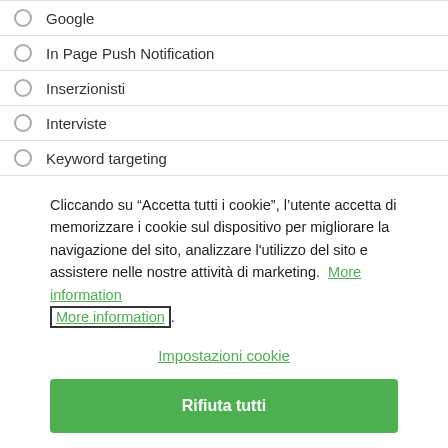Google
In Page Push Notification
Inserzionisti
Interviste
Keyword targeting
Cliccando su “Accetta tutti i cookie”, l’utente accetta di memorizzare i cookie sul dispositivo per migliorare la navigazione del sito, analizzare l'utilizzo del sito e assistere nelle nostre attività di marketing. More information.
Impostazioni cookie
Rifiuta tutti
Accetta tutti i cookie